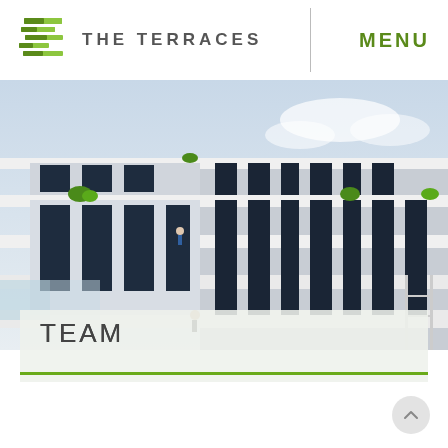[Figure (logo): The Terraces logo with stacked green horizontal bars forming an abstract terrace shape]
THE TERRACES
MENU
[Figure (photo): Exterior architectural rendering of The Terraces building showing white terraced balconies with dark navy/black cladding panels, people visible on balconies, blue sky background]
TEAM